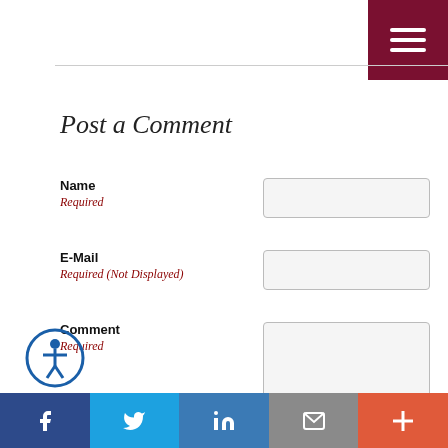[Figure (other): Hamburger menu button (three white horizontal lines on dark red/maroon background) in top-right corner]
Post a Comment
Name
Required
E-Mail
Required (Not Displayed)
Comment
Required
All comments are moderated and stripped of HTML.
[Figure (other): reCAPTCHA widget with checkbox, 'I'm not a robot' text, and reCAPTCHA logo with Privacy and Terms links]
[Figure (other): Accessibility icon (person in circle) at bottom left]
[Figure (other): Social media footer bar with Facebook, Twitter, LinkedIn, Email, and More (+) buttons]